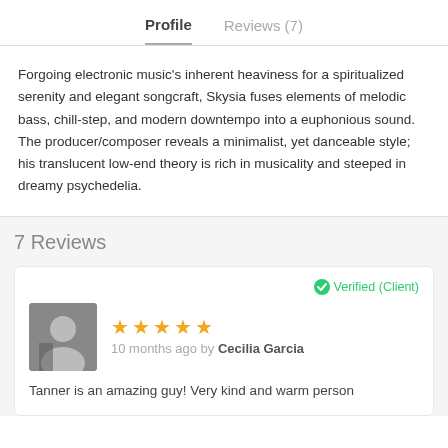Profile   Reviews (7)
Forgoing electronic music's inherent heaviness for a spiritualized serenity and elegant songcraft, Skysia fuses elements of melodic bass, chill-step, and modern downtempo into a euphonious sound. The producer/composer reveals a minimalist, yet danceable style; his translucent low-end theory is rich in musicality and steeped in dreamy psychedelia.
7 Reviews
Verified (Client)
10 months ago by Cecilia Garcia
Tanner is an amazing guy! Very kind and warm person